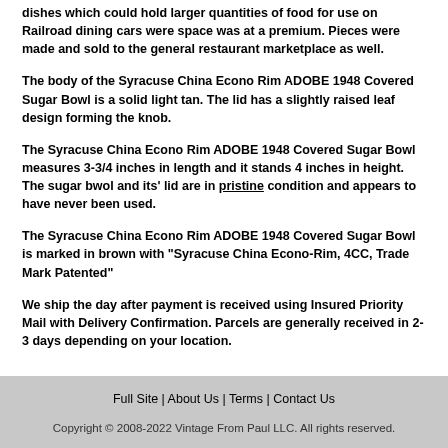dishes which could hold larger quantities of food for use on Railroad dining cars were space was at a premium. Pieces were made and sold to the general restaurant marketplace as well.
The body of the Syracuse China Econo Rim ADOBE 1948 Covered Sugar Bowl is a solid light tan. The lid has a slightly raised leaf design forming the knob.
The Syracuse China Econo Rim ADOBE 1948 Covered Sugar Bowl measures 3-3/4 inches in length and it stands 4 inches in height. The sugar bwol and its' lid are in pristine condition and appears to have never been used.
The Syracuse China Econo Rim ADOBE 1948 Covered Sugar Bowl is marked in brown with "Syracuse China Econo-Rim, 4CC, Trade Mark Patented"
We ship the day after payment is received using Insured Priority Mail with Delivery Confirmation. Parcels are generally received in 2-3 days depending on your location.
Full Site | About Us | Terms | Contact Us
Copyright © 2008-2022 Vintage From Paul LLC. All rights reserved.